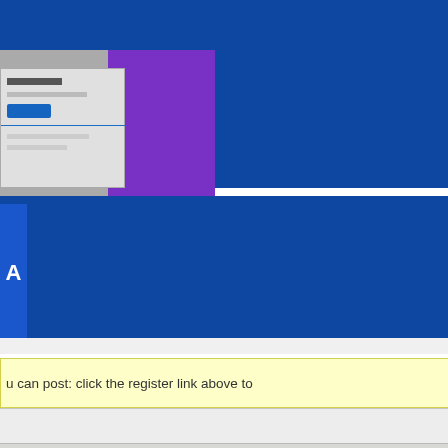[Figure (screenshot): Website header with blue background and a thumbnail image showing a dialog/form with purple and white elements on the left side]
[Figure (screenshot): Second blue banner section with a partial logo or icon on the left edge]
u can post: click the register link above to
Results 1 to 10 of 10
[Figure (screenshot): Navigation menu with blue background showing links: Home, Movies, Tutorials, Board, Links, Reviews, Gallery, Fonts, The Lounge, Sound FX, About FK, Sitemap]
Thread Tools  Display